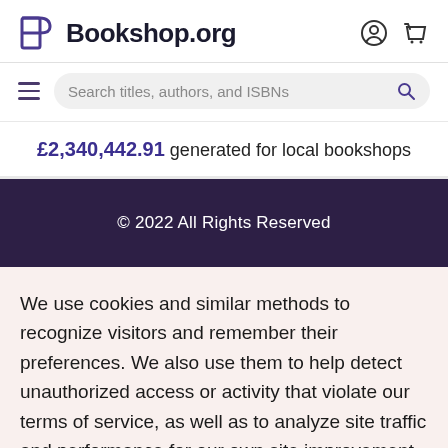Bookshop.org
Search titles, authors, and ISBNs
£2,340,442.91 generated for local bookshops
© 2022 All Rights Reserved
We use cookies and similar methods to recognize visitors and remember their preferences. We also use them to help detect unauthorized access or activity that violate our terms of service, as well as to analyze site traffic and performance for our own site improvement efforts. To learn more about these methods, including how to disable them view our Cookie Policy